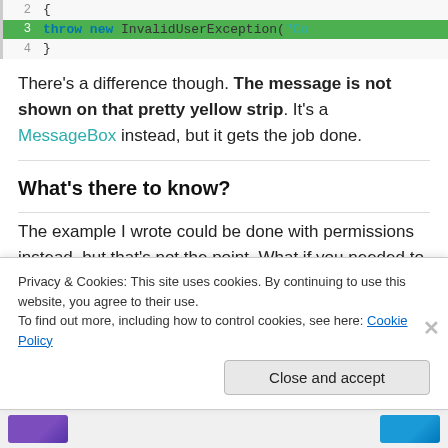[Figure (screenshot): Code block showing lines 2-4 of code. Line 2 shows '{', line 3 (highlighted green) shows 'throw new InvalidUserException("Co...', line 4 shows '}']
There's a difference though. The message is not shown on that pretty yellow strip. It's a MessageBox instead, but it gets the job done.
What's there to know?
The example I wrote could be done with permissions instead, but that's not the point. What if you needed to
Privacy & Cookies: This site uses cookies. By continuing to use this website, you agree to their use.
To find out more, including how to control cookies, see here: Cookie Policy
Close and accept